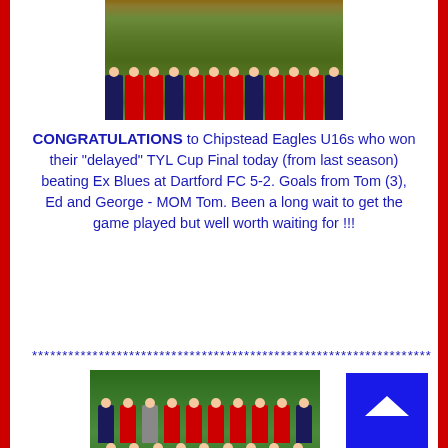[Figure (photo): Team photo from above showing players in red and navy kits lined up on green artificial turf with a football, viewed from above/close crop of bottom half of players]
CONGRATULATIONS to Chipstead Eagles U16s who won their "delayed" TYL Cup Final today (from last season) beating Ex Blues at Dartford FC 5-2.  Goals from Tom (3), Ed and George - MOM Tom.  Been a long wait to get the game played but well worth waiting for !!!
******************************************************************
[Figure (photo): Team photo showing youth football team in red kits posed in two rows on a pitch with trees in background, with two coaches in dark jackets at either end]
[Figure (other): Blue square box with white upward chevron/arrow icon in bottom right corner]